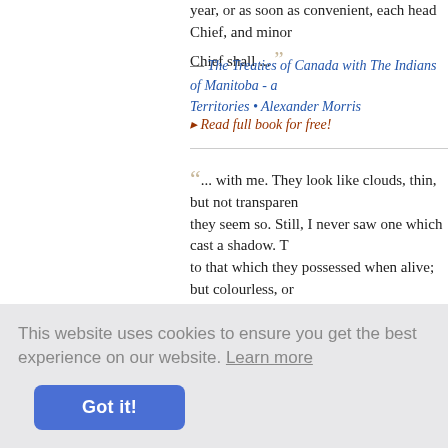year, or as soon as convenient, each head Chief, and minor Chief shall ...
— The Treaties of Canada with The Indians of Manitoba - a... Territories • Alexander Morris
▸ Read full book for free!
... with me. They look like clouds, thin, but not transparent; they seem so. Still, I never saw one which cast a shadow. The ... to that which they possessed when alive; but colourless, or ... clothing; and it appears as if made of clouds, also colourless. The brighter and better spirits wear long garments, which ha... with belts around their waists. The expression of their featur... solemn. Their eyes are bright, like fire; ...
— Memoirs of Extraordinary Popular Delusions - Vol. I • Cha...
This website uses cookies to ensure you get the best experience on our website. Learn more
Got it!
n, saying, v... Your bell r... 've gone t... o, and, as ... correctness itself; and here is my subscription for the next w...